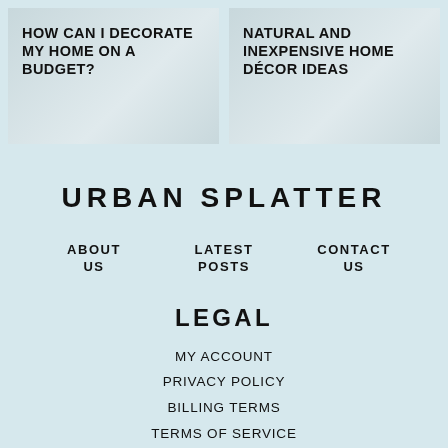HOW CAN I DECORATE MY HOME ON A BUDGET?
NATURAL AND INEXPENSIVE HOME DÉCOR IDEAS
URBAN SPLATTER
ABOUT US
LATEST POSTS
CONTACT US
LEGAL
MY ACCOUNT
PRIVACY POLICY
BILLING TERMS
TERMS OF SERVICE